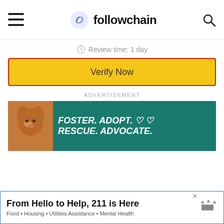[Figure (screenshot): Followchain website header with hamburger menu icon on left, logo (chain link icon + 'followchain' text) in center, and search icon on right]
Review time: 1 day
[Figure (screenshot): Yellow button with red border labeled 'Verify Now']
ADVERTISEMENT
[Figure (screenshot): Advertisement banner with teal background showing a dog and text: FOSTER. ADOPT. RESCUE. ADVOCATE. with heart icons and close button]
[Figure (screenshot): Bottom advertisement banner: 'From Hello to Help, 211 is Here' with subtitle 'Food • Housing • Utilities Assistance • Mental Health', close button, and speaker icon]